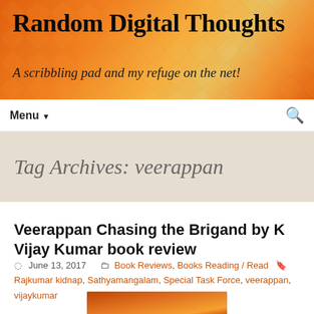Random Digital Thoughts
A scribbling pad and my refuge on the net!
Menu ▼  🔍
Tag Archives: veerappan
Veerappan Chasing the Brigand by K Vijay Kumar book review
June 13, 2017   Book Reviews, Books Reading / Read   Rajkumar kidnap, Sathyamangalam, Special Task Force, veerappan, vijaykumar
[Figure (photo): Partial image of book cover (orange/brown gradient) at the bottom of the page]